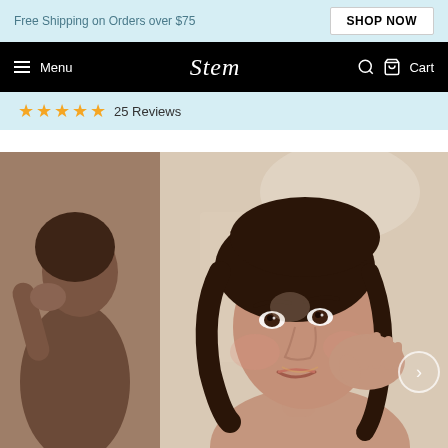Free Shipping on Orders over $75   SHOP NOW
Menu   Stem   Cart
25 Reviews
[Figure (photo): Woman looking in mirror touching her face, skincare product lifestyle photo]